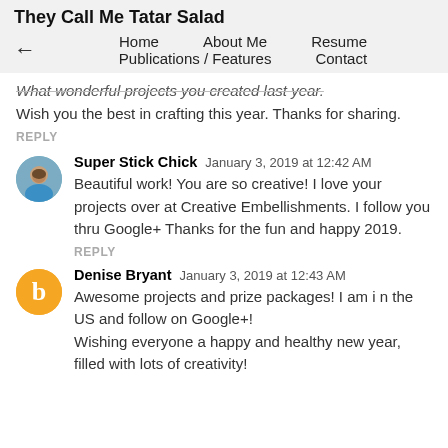They Call Me Tatar Salad
← Home   About Me   Resume   Publications / Features   Contact
What wonderful projects you created last year. Wish you the best in crafting this year. Thanks for sharing.
REPLY
Super Stick Chick  January 3, 2019 at 12:42 AM
Beautiful work! You are so creative! I love your projects over at Creative Embellishments. I follow you thru Google+ Thanks for the fun and happy 2019.
REPLY
Denise Bryant  January 3, 2019 at 12:43 AM
Awesome projects and prize packages! I am i n the US and follow on Google+!
Wishing everyone a happy and healthy new year, filled with lots of creativity!